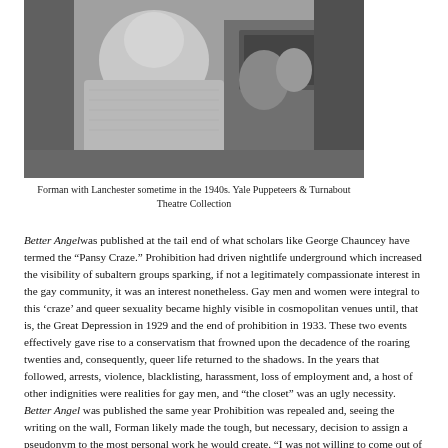[Figure (photo): Black and white photograph of Forman with Lanchester, taken sometime in the 1940s. Two figures visible, close-up portrait style, appears to be in a performance or backstage setting.]
Forman with Lanchester sometime in the 1940s. Yale Puppeteers & Turnabout Theatre Collection
Better Angel was published at the tail end of what scholars like George Chauncey have termed the “Pansy Craze.” Prohibition had driven nightlife underground which increased the visibility of subaltern groups sparking, if not a legitimately compassionate interest in the gay community, it was an interest nonetheless. Gay men and women were integral to this ‘craze’ and queer sexuality became highly visible in cosmopolitan venues until, that is, the Great Depression in 1929 and the end of prohibition in 1933. These two events effectively gave rise to a conservatism that frowned upon the decadence of the roaring twenties and, consequently, queer life returned to the shadows. In the years that followed, arrests, violence, blacklisting, harassment, loss of employment and, a host of other indignities were realities for gay men, and “the closet” was an ugly necessity. Better Angel was published the same year Prohibition was repealed and, seeing the writing on the wall, Forman likely made the tough, but necessary, decision to assign a pseudonym to the most personal work he would create. “I was not willing to come out of the closet, so to speak. It just wasn’t done then